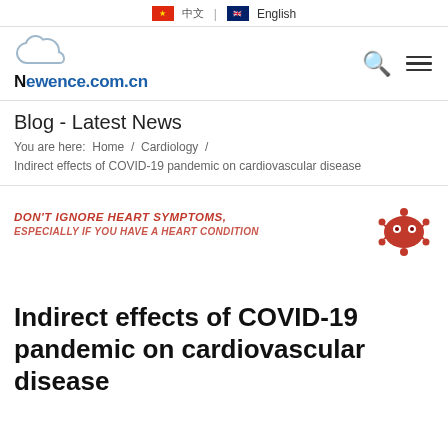中文 | English
[Figure (logo): Newence.com.cn logo with cloud icon, search and menu icons]
Blog - Latest News
You are here:  Home  /  Cardiology  /
Indirect effects of COVID-19 pandemic on cardiovascular disease
[Figure (infographic): Banner image with red bold italic text: DON'T IGNORE HEART SYMPTOMS, ESPECIALLY IF YOU HAVE A HEART CONDITION, with a red coronavirus illustration on the right]
Indirect effects of COVID-19 pandemic on cardiovascular disease